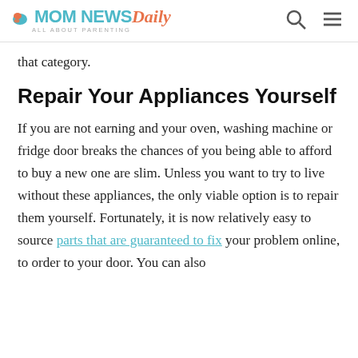MOM NEWS Daily — ALL ABOUT PARENTING
that category.
Repair Your Appliances Yourself
If you are not earning and your oven, washing machine or fridge door breaks the chances of you being able to afford to buy a new one are slim. Unless you want to try to live without these appliances, the only viable option is to repair them yourself. Fortunately, it is now relatively easy to source parts that are guaranteed to fix your problem online, to order to your door. You can also find at home problems, not at home and